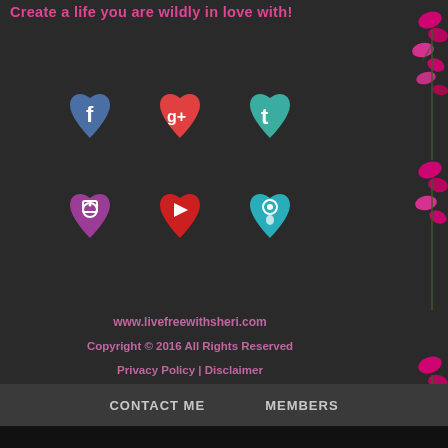Create a life you are wildly in love with!
[Figure (illustration): Six heart-shaped social media icons arranged in a 2x3 grid: Facebook (blue), Google+ (orange/red), Twitter (teal), Instagram (purple), YouTube (red), Periscope (teal)]
www.livefreewithsheri.com
Copyright © 2016 All Rights Reserved
Privacy Policy | Disclaimer
CONTACT ME   MEMBERS